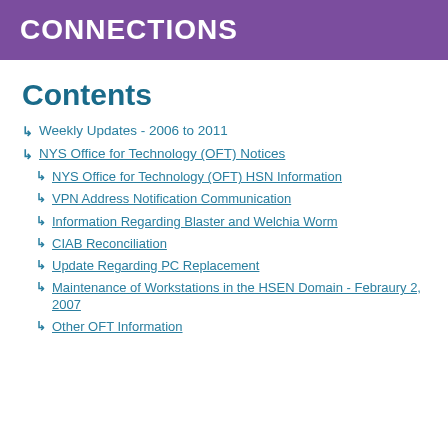CONNECTIONS
Contents
Weekly Updates - 2006 to 2011
NYS Office for Technology (OFT) Notices
NYS Office for Technology (OFT) HSN Information
VPN Address Notification Communication
Information Regarding Blaster and Welchia Worm
CIAB Reconciliation
Update Regarding PC Replacement
Maintenance of Workstations in the HSEN Domain - Febraury 2, 2007
Other OFT Information